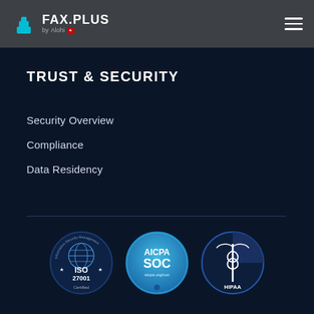FAX.PLUS by Alohi
TRUST & SECURITY
Security Overview
Compliance
Data Residency
[Figure (logo): ISO 27001 Certified badge - circular dark blue badge with globe and ISO 27001 Certified text]
[Figure (logo): AICPA SOC compliance badge - circular light blue badge]
[Figure (logo): HIPAA compliance badge - circular badge with caduceus symbol]
[Figure (logo): California privacy badge - circular badge with California bear and lock]
[Figure (logo): Stars/GDPR compliance badge - circular badge with stars and lock]